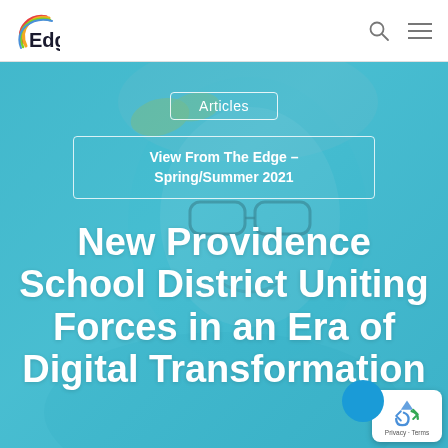Edge.
[Figure (photo): Smiling girl with yellow bow, glasses, wearing headphones, with teal/blue color overlay across full hero area]
Articles
View From The Edge – Spring/Summer 2021
New Providence School District Uniting Forces in an Era of Digital Transformation